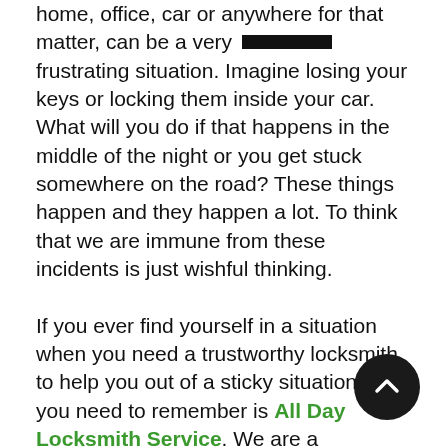home, office, car or anywhere for that matter, can be a very [REDACTED] frustrating situation. Imagine losing your keys or locking them inside your car. What will you do if that happens in the middle of the night or you get stuck somewhere on the road? These things happen and they happen a lot. To think that we are immune from these incidents is just wishful thinking.

If you ever find yourself in a situation when you need a trustworthy locksmith to help you out of a sticky situation, all you need to remember is All Day Locksmith Service. We are a responsible and dependable locksmith service provider, serving the Tucson, AZ area for the last ten years. Our job is to ensure that you are never out of help